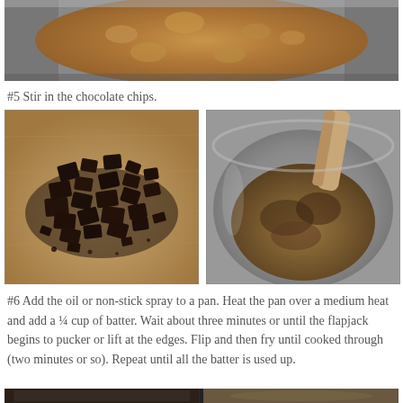[Figure (photo): Close-up photo of bubbling brown batter mixture in a metal pan/bowl, viewed from above]
#5 Stir in the chocolate chips.
[Figure (photo): Left: pile of chopped dark chocolate chips on a wooden cutting board. Right: dark chocolate chips stirred into the brown batter in a metal bowl with a spatula.]
#6 Add the oil or non-stick spray to a pan. Heat the pan over a medium heat and add a ¼ cup of batter. Wait about three minutes or until the flapjack begins to pucker or lift at the edges. Flip and then fry until cooked through (two minutes or so). Repeat until all the batter is used up.
[Figure (photo): Bottom strip showing two photos partially visible — cooked flapjacks in a pan]